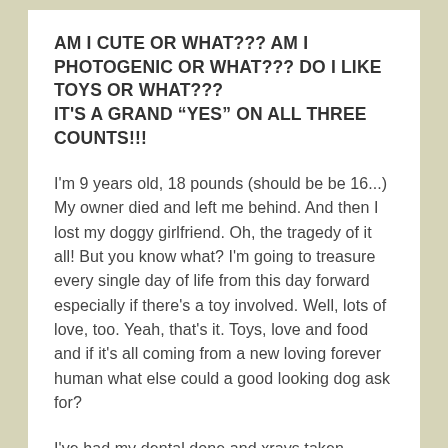AM I CUTE OR WHAT??? AM I PHOTOGENIC OR WHAT??? DO I LIKE TOYS OR WHAT??? IT'S A GRAND “YES” ON ALL THREE COUNTS!!!
I'm 9 years old, 18 pounds (should be be 16...) My owner died and left me behind. And then I lost my doggy girlfriend. Oh, the tragedy of it all! But you know what? I'm going to treasure every single day of life from this day forward especially if there's a toy involved. Well, lots of love, too. Yeah, that's it. Toys, love and food and if it's all coming from a new loving forever human what else could a good looking dog ask for?
I've had my dental done and xrays taken. There are some slight changes in the hips but nothing that keeps me from walking on a leash and playing with toys. I just can't do stairs. Foster mom says a joint supplement would be a good idea and drops are needed for my dry eyes. None of those are